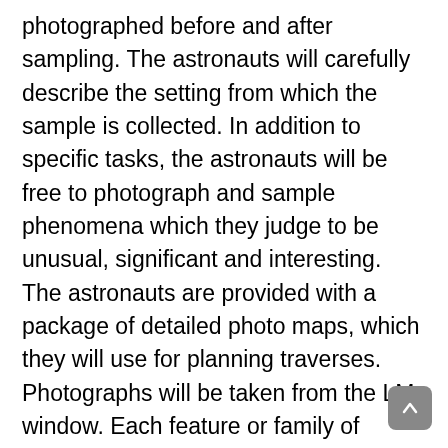photographed before and after sampling. The astronauts will carefully describe the setting from which the sample is collected. In addition to specific tasks, the astronauts will be free to photograph and sample phenomena which they judge to be unusual, significant and interesting. The astronauts are provided with a package of detailed photo maps, which they will use for planning traverses. Photographs will be taken from the LM window. Each feature or family of features will be described, relating to features on the photo maps. Areas and features where photographs should be taken and representative samples collected will be marked on the maps. The crew and their ground support personnel will consider real-time deviation from the